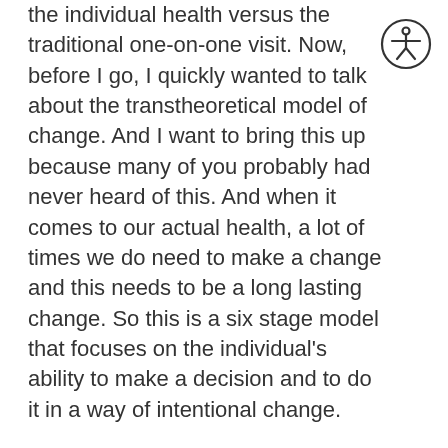the individual health versus the traditional one-on-one visit. Now, before I go, I quickly wanted to talk about the transtheoretical model of change. And I want to bring this up because many of you probably had never heard of this. And when it comes to our actual health, a lot of times we do need to make a change and this needs to be a long lasting change. So this is a six stage model that focuses on the individual's ability to make a decision and to do it in a way of intentional change.
Let me go through these stages with you. Now, the first stage is the precontemplation stage. Now in this stage, people do not intend to take any actions in the foreseeable future.
[Figure (illustration): Accessibility icon — a circle with a stick figure person inside, arms outstretched, indicating accessibility/disability compliance.]